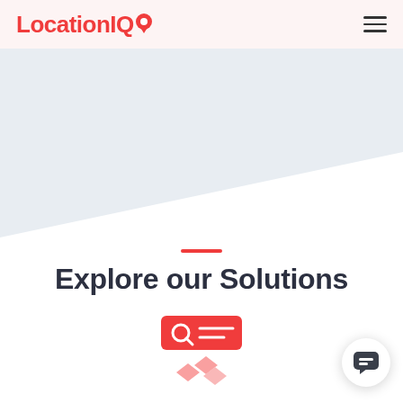LocationIQ
Explore our Solutions
[Figure (illustration): LocationIQ logo with map pin icon and hamburger menu icon in header]
[Figure (illustration): Diagonal light grey-blue hero background section]
[Figure (illustration): Red search/geocoding icon with map markers, representing a solutions feature]
[Figure (illustration): Chat bubble button in bottom right corner]